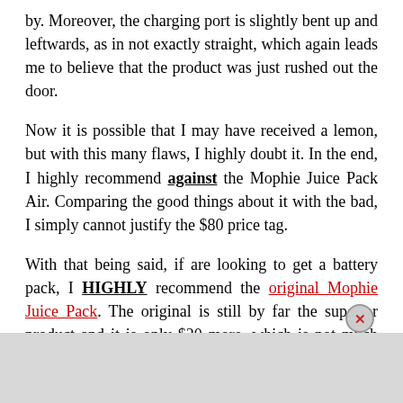by. Moreover, the charging port is slightly bent up and leftwards, as in not exactly straight, which again leads me to believe that the product was just rushed out the door.
Now it is possible that I may have received a lemon, but with this many flaws, I highly doubt it. In the end, I highly recommend against the Mophie Juice Pack Air. Comparing the good things about it with the bad, I simply cannot justify the $80 price tag.
With that being said, if are looking to get a battery pack, I HIGHLY recommend the original Mophie Juice Pack. The original is still by far the superior product and it is only $20 more, which is not much more to spend when you are already planning to spend $80.
Now just to be clear, I am only disappointed with the Juice Pack Air and not Mophie as a company. I'm just very s... Air got th... red